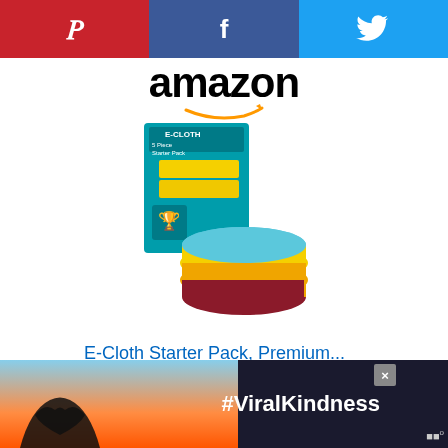[Figure (screenshot): Social sharing bar with Pinterest (red), Facebook (dark blue), and Twitter (light blue) buttons with their respective icons]
[Figure (logo): Amazon logo with orange arrow underline]
[Figure (photo): E-Cloth Starter Pack product photo showing stacked colorful microfiber cloths with product packaging]
E-Cloth Starter Pack, Premium...
$19.99  ✓Prime
[Figure (screenshot): Amazon Shop now button with gold background and Amazon 'a' logo icon]
[Figure (screenshot): Advertisement banner with #ViralKindness hashtag, heart hands silhouette against sunset, and close button]